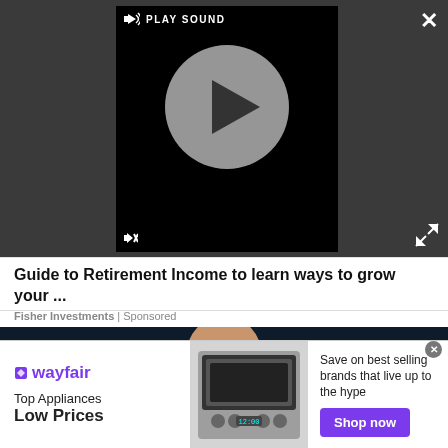[Figure (screenshot): Video player showing play button circle on black background with PLAY SOUND label and speaker icon at top, mute icon bottom-left. Dark gray overlay background with close X and expand arrows buttons.]
Guide to Retirement Income to learn ways to grow your ...
Fisher Investments | Sponsored
[Figure (photo): Photo of a bald man (Erik ten Hag) in a red Manchester United training jacket at a press conference, with Adidas and Manchester United branded backdrop behind him.]
[Figure (screenshot): Wayfair advertisement: Top Appliances Low Prices. Image of a stove/range appliance. Text: Save on best selling brands that live up to the hype. Purple Shop now button. Wayfair logo in purple.]